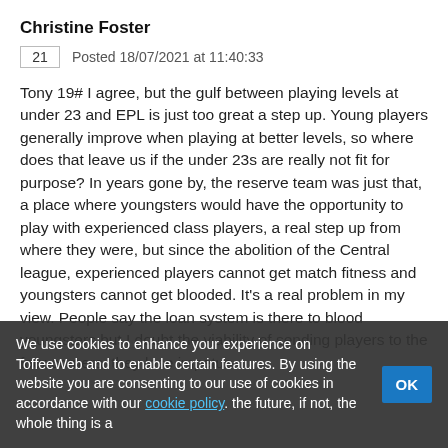Christine Foster
21   Posted 18/07/2021 at 11:40:33
Tony 19# I agree, but the gulf between playing levels at under 23 and EPL is just too great a step up. Young players generally improve when playing at better levels, so where does that leave us if the under 23s are really not fit for purpose? In years gone by, the reserve team was just that, a place where youngsters would have the opportunity to play with experienced class players, a real step up from where they were, but since the abolition of the Central league, experienced players cannot get match fitness and youngsters cannot get blooded. It's a real problem in my view. People say the loan system is there to blood youngsters but I doubt the viability of sending players to the four corners, they lose impetus and...
We use cookies to enhance your experience on ToffeeWeb and to enable certain features. By using the website you are consenting to our use of cookies in accordance with our cookie policy. the future, if not, the whole thing is a